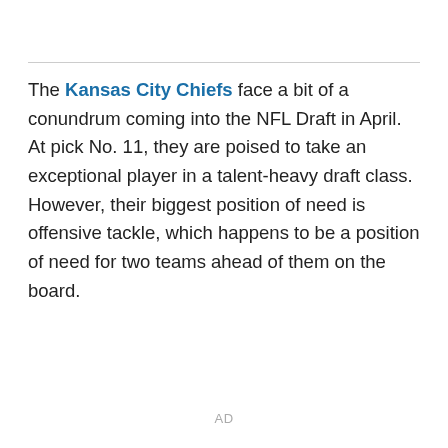The Kansas City Chiefs face a bit of a conundrum coming into the NFL Draft in April. At pick No. 11, they are poised to take an exceptional player in a talent-heavy draft class. However, their biggest position of need is offensive tackle, which happens to be a position of need for two teams ahead of them on the board.
AD